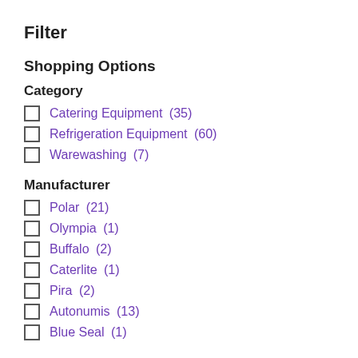Filter
Shopping Options
Category
Catering Equipment (35)
Refrigeration Equipment (60)
Warewashing (7)
Manufacturer
Polar (21)
Olympia (1)
Buffalo (2)
Caterlite (1)
Pira (2)
Autonumis (13)
Blue Seal (1)